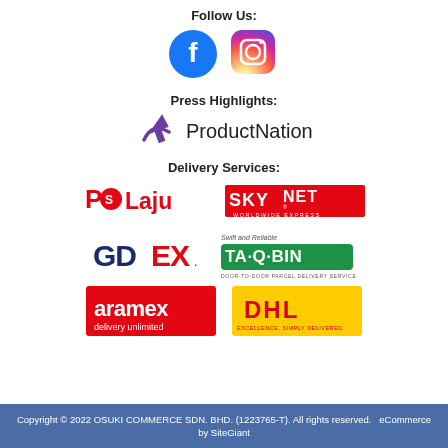Follow Us:
[Figure (logo): Facebook and Instagram social media icons side by side]
Press Highlights:
[Figure (logo): ProductNation logo with arrow icon]
Delivery Services:
[Figure (logo): Pos Laju, SkyNet Worldwide Express, GDEX, TA-Q-BIN, Aramex, DHL delivery service logos]
Copyright © 2022 OSUKI COMMERCE SDN. BHD. (1223765-T). All rights reserved.   eCommerce by SiteGiant